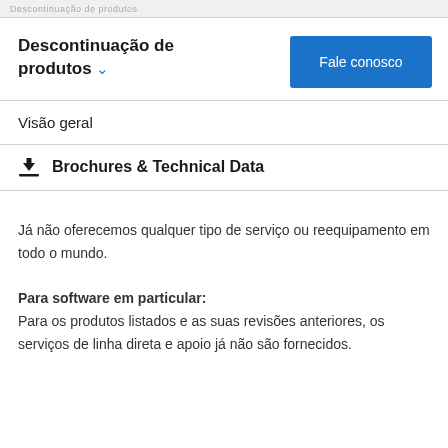Descontinuação de produtos
Descontinuação de produtos
Visão geral
Brochures & Technical Data
Já não oferecemos qualquer tipo de serviço ou reequipamento em todo o mundo.
Para software em particular: Para os produtos listados e as suas revisões anteriores, os serviços de linha direta e apoio já não são fornecidos.